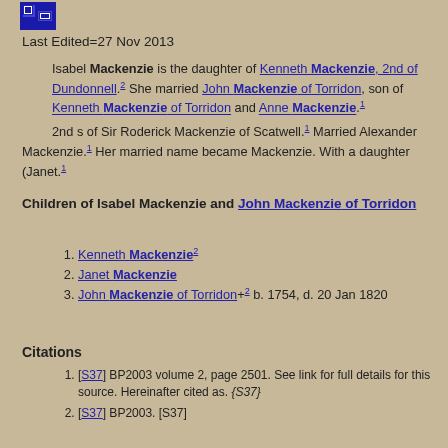[Figure (logo): Small blue pixel-art icon/logo in top left corner]
Last Edited=27 Nov 2013
Isabel Mackenzie is the daughter of Kenneth Mackenzie, 2nd of Dundonnell.2 She married John Mackenzie of Torridon, son of Kenneth Mackenzie of Torridon and Anne Mackenzie.1
2nd s of Sir Roderick Mackenzie of Scatwell.1 Married Alexander Mackenzie.1 Her married name became Mackenzie. With a daughter (Janet.1
Children of Isabel Mackenzie and John Mackenzie of Torridon
1. Kenneth Mackenzie2
2. Janet Mackenzie
3. John Mackenzie of Torridon+2 b. 1754, d. 20 Jan 1820
Citations
1. [S37] BP2003 volume 2, page 2501. See link for full details for this source. Hereinafter cited as. {S37}
2. [S37] BP2003. [S37]